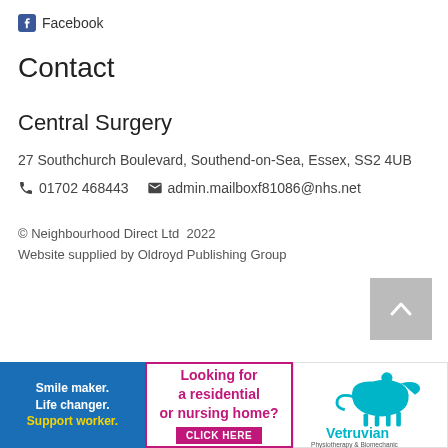Facebook
Contact
Central Surgery
27 Southchurch Boulevard, Southend-on-Sea, Essex, SS2 4UB
01702 468443   admin.mailboxf81086@nhs.net
© Neighbourhood Direct Ltd  2022
Website supplied by Oldroyd Publishing Group
[Figure (other): Back to top button (grey square with upward chevron)]
[Figure (other): Advertisement banner: Smile maker. Life changer. Support worker. Blue background with yellow text.]
[Figure (other): Advertisement banner: Looking for a residential or nursing home? CLICK HERE. White background with pink/magenta text and button.]
[Figure (other): Advertisement banner: Vetruvian Physiotherapy & Biomechanics logo with teal horse and rider graphic.]